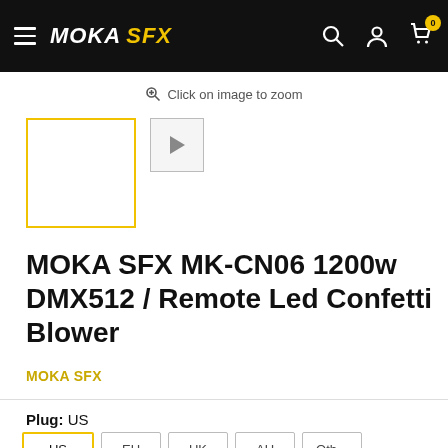MOKA SFX — navigation bar with hamburger menu, logo, search, account, and cart icons
Click on image to zoom
[Figure (screenshot): Product thumbnail placeholder (yellow border box) and a video thumbnail with play button]
MOKA SFX MK-CN06 1200w DMX512 / Remote Led Confetti Blower
MOKA SFX
Plug: US
US  EU  UK  AU  Other